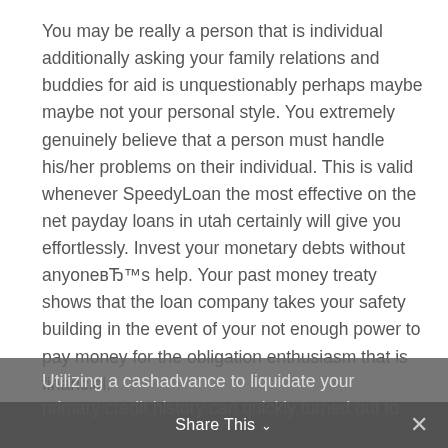You may be really a person that is individual additionally asking your family relations and buddies for aid is unquestionably perhaps maybe maybe not your personal style. You extremely genuinely believe that a person must handle his/her problems on their individual. This is valid whenever SpeedyLoan the most effective on the net payday loans in utah certainly will give you effortlessly. Invest your monetary debts without anyoneвЂ™s help. Your past money treaty shows that the loan company takes your safety building in the event of your not enough power to pay money for the obligation enthusiasm that is financial. Utilizing a cashadvance to liquidate your primary credit history can quickly turned out to
Share This